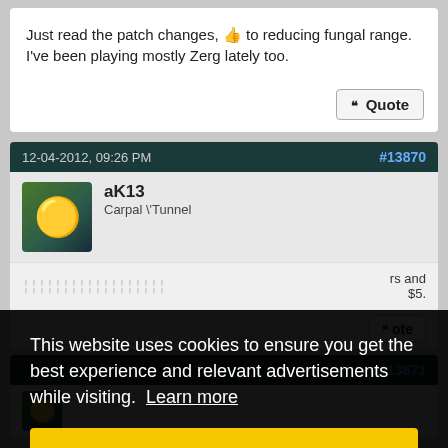Just read the patch changes, 👍 to reducing fungal range. I've been playing mostly Zerg lately too.
Quote
12-04-2012, 09:26 PM
#13870
aK13
Carpal \'Tunnel
...rs and $5.
ote
This website uses cookies to ensure you get the best experience and relevant advertisements while visiting. Learn more
Got it!
#13871